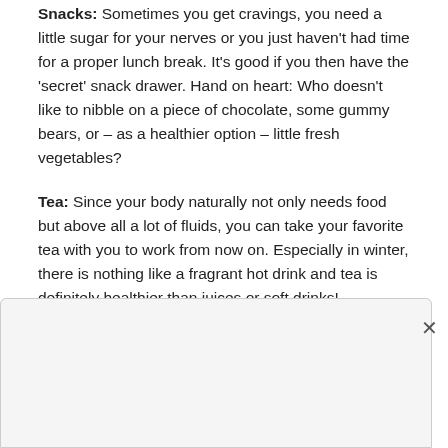Snacks: Sometimes you get cravings, you need a little sugar for your nerves or you just haven't had time for a proper lunch break. It's good if you then have the 'secret' snack drawer. Hand on heart: Who doesn't like to nibble on a piece of chocolate, some gummy bears, or – as a healthier option – little fresh vegetables?
Tea: Since your body naturally not only needs food but above all a lot of fluids, you can take your favorite tea with you to work from now on. Especially in winter, there is nothing like a fragrant hot drink and tea is definitely healthier than juices or soft drinks!
Labello: Speaking of winter – do you know that too: